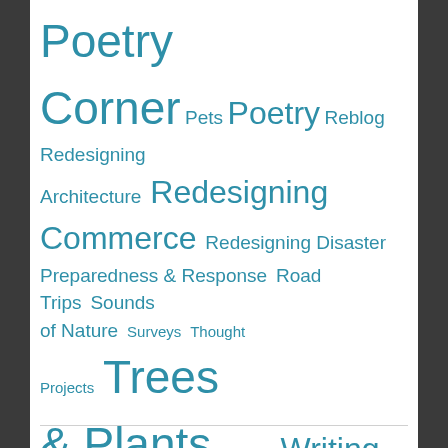Poetry Corner Pets Poetry Reblog Redesigning Architecture Redesigning Commerce Redesigning Disaster Preparedness & Response Road Trips Sounds of Nature Surveys Thought Projects Trees & Plants Updates Writing
Google Translate
[Figure (other): Google Translate language selector widget with a dropdown labeled 'Select Language' and a 'Powered by Google Translate' label below.]